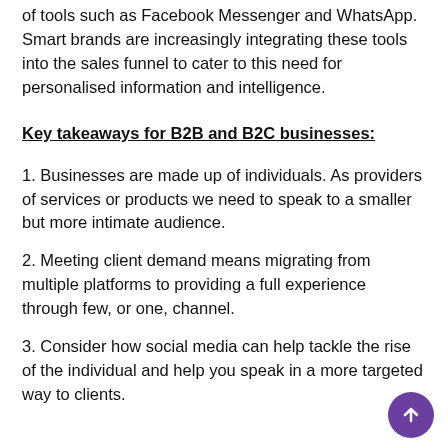of tools such as Facebook Messenger and WhatsApp. Smart brands are increasingly integrating these tools into the sales funnel to cater to this need for personalised information and intelligence.
Key takeaways for B2B and B2C businesses:
1. Businesses are made up of individuals. As providers of services or products we need to speak to a smaller but more intimate audience.
2. Meeting client demand means migrating from multiple platforms to providing a full experience through few, or one, channel.
3. Consider how social media can help tackle the rise of the individual and help you speak in a more targeted way to clients.